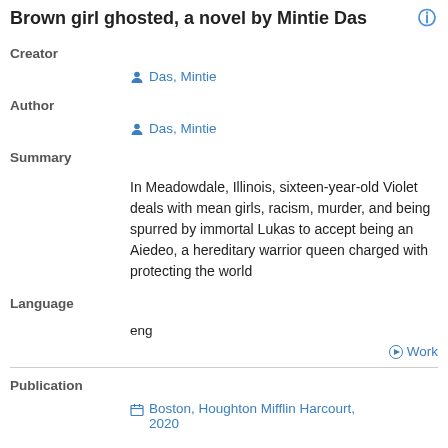Brown girl ghosted, a novel by Mintie Das
Creator
Das, Mintie
Author
Das, Mintie
Summary
In Meadowdale, Illinois, sixteen-year-old Violet deals with mean girls, racism, murder, and being spurred by immortal Lukas to accept being an Aiedeo, a hereditary warrior queen charged with protecting the world
Language
eng
Work
Publication
Boston, Houghton Mifflin Harcourt, 2020